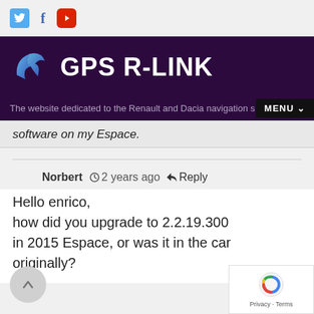[Figure (screenshot): Website header for GPS R-LINK with social media icons (Twitter, Facebook, YouTube), dark purple banner with logo and site title, tagline bar, and MENU button]
software on my Espace.
Norbert  2 years ago  Reply
Hello enrico,
how did you upgrade to 2.2.19.300
in 2015 Espace, or was it in the car
originally?